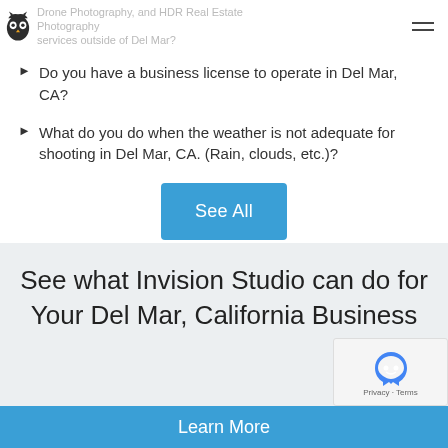Drone Photography, and HDR Real Estate Photography services outside of Del Mar?
Do you have a business license to operate in Del Mar, CA?
What do you do when the weather is not adequate for shooting in Del Mar, CA. (Rain, clouds, etc.)?
See All
See what Invision Studio can do for Your Del Mar, California Business
Learn More